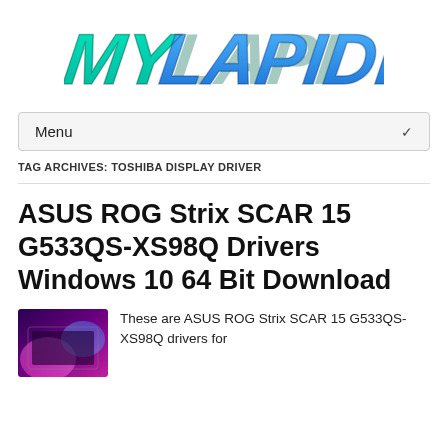[Figure (logo): MyLapiDrivers logo with teal and blue stylized text on white background]
Menu
TAG ARCHIVES: TOSHIBA DISPLAY DRIVER
ASUS ROG Strix SCAR 15 G533QS-XS98Q Drivers Windows 10 64 Bit Download
[Figure (photo): Thumbnail of ASUS ROG laptop with colorful lighting]
These are ASUS ROG Strix SCAR 15 G533QS-XS98Q drivers for